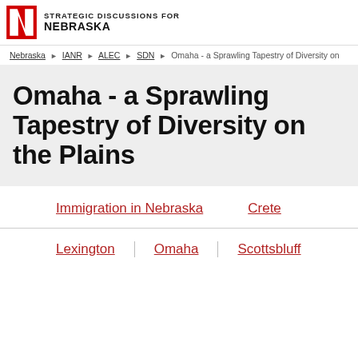STRATEGIC DISCUSSIONS FOR NEBRASKA
Nebraska › IANR › ALEC › SDN › Omaha - a Sprawling Tapestry of Diversity on
Omaha - a Sprawling Tapestry of Diversity on the Plains
Immigration in Nebraska
Crete
Lexington
Omaha
Scottsbluff